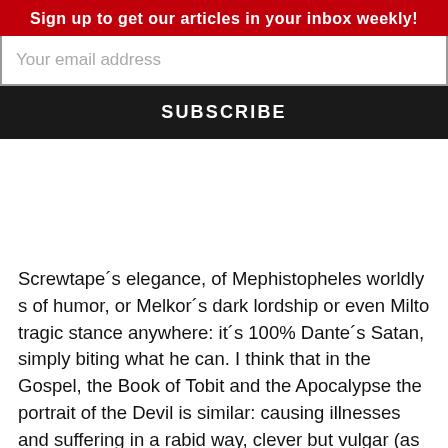Sign up to get our articles in your inbox weekly!
Your email address
SUBSCRIBE
Screwtape´s elegance, of Mephistopheles worldly s of humor, or Melkor´s dark lordship or even Milto tragic stance anywhere: it´s 100% Dante´s Satan, simply biting what he can. I think that in the Gospel, the Book of Tobit and the Apocalypse the portrait of the Devil is similar: causing illnesses and suffering in a rabid way, clever but vulgar (as when tempting Christ), hurting and abusing people: he being a dangerous, clever bully, I believe Christians must not engange in dialogue with him, following Christ when He publicly enganged devils, but pray, fast or use the power confered to the Church to heal and expel when it´s granted to one. On the other hand, God knows and loves him in some way (or he wouldn´t exist), but we can´t, as